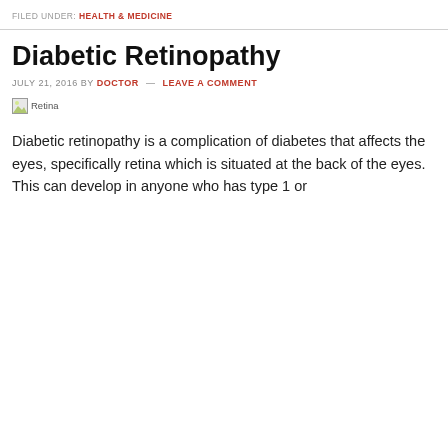FILED UNDER: HEALTH & MEDICINE
Diabetic Retinopathy
JULY 21, 2016 BY DOCTOR — LEAVE A COMMENT
[Figure (photo): Broken image placeholder labeled 'Retina']
Diabetic retinopathy is a complication of diabetes that affects the eyes, specifically retina which is situated at the back of the eyes. This can develop in anyone who has type 1 or